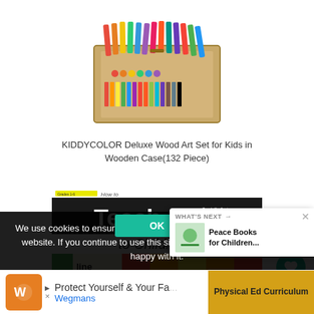[Figure (photo): KIDDYCOLOR Deluxe Wood Art Set for Kids in a wooden case with colorful art supplies — colored pencils, crayons, pastels arranged in an open wooden box]
KIDDYCOLOR Deluxe Wood Art Set for Kids in Wooden Case(132 Piece)
[Figure (photo): Book cover: How to Teach Art to Children (Grades 1-6), showing colorful color wheel/grid with words line, shape, color, value]
We use cookies to ensure that we give you the best experience on our website. If you continue to use this site we will assume that you are happy with it.
WHAT'S NEXT → Peace Books for Children...
Protect Yourself & Your Fa... Wegmans
Physical Ed Curriculum